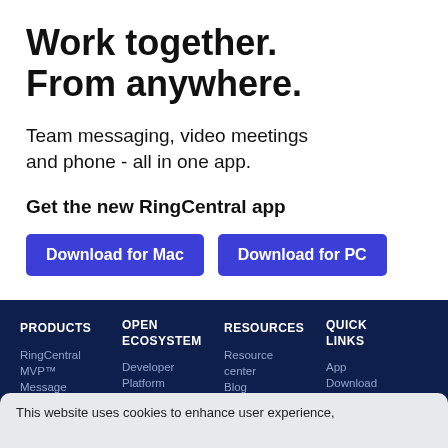Work together. From anywhere.
Team messaging, video meetings and phone - all in one app.
Get the new RingCentral app
Download for Mac
Download for PC
PRODUCTS
OPEN ECOSYSTEM
RESOURCES
QUICK LINKS
RingCentral MVP™
Developer
Resource center
App
Message
Platform
Blog
Download
This website uses cookies to enhance user experience,